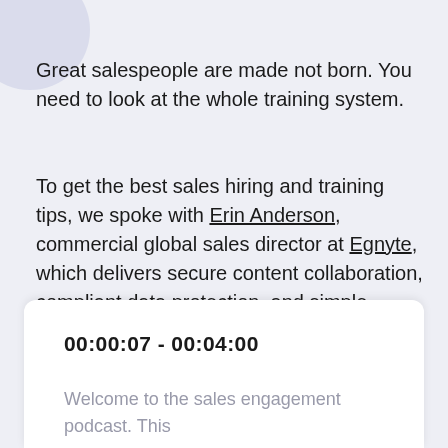Great salespeople are made not born. You need to look at the whole training system.
To get the best sales hiring and training tips, we spoke with Erin Anderson, commercial global sales director at Egnyte, which delivers secure content collaboration, compliant data protection, and simple infrastructure modernization, all through a single SaaS solution.
00:00:07 - 00:04:00
Welcome to the sales engagement podcast. This